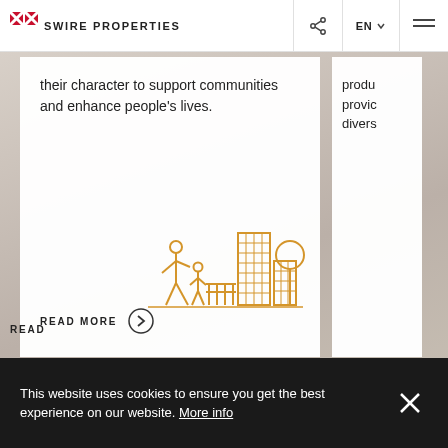Swire Properties
their character to support communities and enhance people's lives.
produ provic divers
[Figure (illustration): Line illustration in orange/gold of a person walking with a child, a fence, a tall building grid, and a tree]
READ MORE
READ
This website uses cookies to ensure you get the best experience on our website. More info